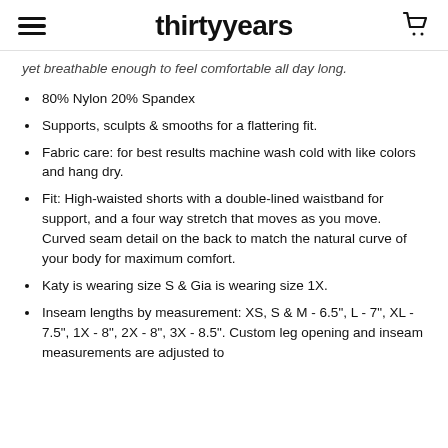thirtyyears
yet breathable enough to feel comfortable all day long.
80% Nylon 20% Spandex
Supports, sculpts & smooths for a flattering fit.
Fabric care: for best results machine wash cold with like colors and hang dry.
Fit: High-waisted shorts with a double-lined waistband for support, and a four way stretch that moves as you move. Curved seam detail on the back to match the natural curve of your body for maximum comfort.
Katy is wearing size S & Gia is wearing size 1X.
Inseam lengths by measurement: XS, S & M - 6.5", L - 7", XL - 7.5", 1X - 8", 2X - 8", 3X - 8.5". Custom leg opening and inseam measurements are adjusted to